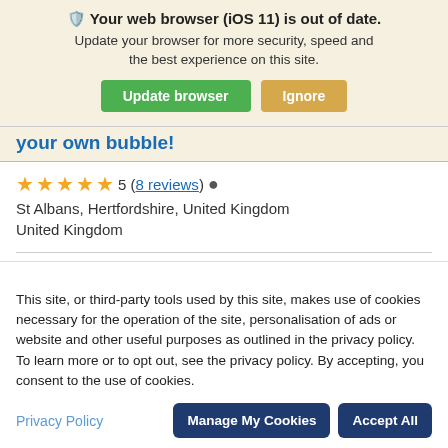[Figure (screenshot): Browser update warning banner with icon, bold warning title, subtitle, and two buttons: 'Update browser' (green) and 'Ignore' (tan/orange)]
...your own bubble!
5 (8 reviews) • St Albans, Hertfordshire, United Kingdom
This site, or third-party tools used by this site, makes use of cookies necessary for the operation of the site, personalisation of ads or website and other useful purposes as outlined in the privacy policy. To learn more or to opt out, see the privacy policy. By accepting, you consent to the use of cookies.
Privacy Policy
Manage My Cookies
Accept All